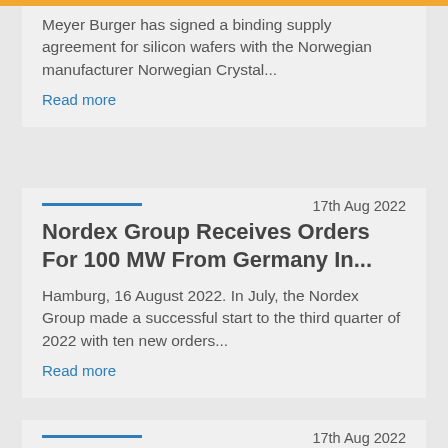Meyer Burger has signed a binding supply agreement for silicon wafers with the Norwegian manufacturer Norwegian Crystal...
Read more
17th Aug 2022
Nordex Group Receives Orders For 100 MW From Germany In...
Hamburg, 16 August 2022. In July, the Nordex Group made a successful start to the third quarter of 2022 with ten new orders...
Read more
17th Aug 2022